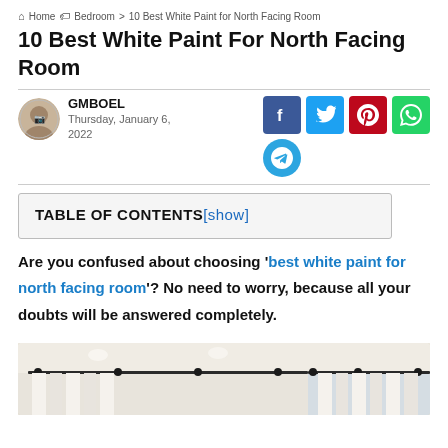Home > Bedroom > 10 Best White Paint for North Facing Room
10 Best White Paint For North Facing Room
GMBOEL
Thursday, January 6, 2022
[Figure (infographic): Social share buttons: Facebook, Twitter, Pinterest, WhatsApp, Telegram]
TABLE OF CONTENTS[show]
Are you confused about choosing 'best white paint for north facing room'? No need to worry, because all your doubts will be answered completely.
[Figure (photo): Interior room photo showing white ceiling with curtain rods and white drapes near a window]